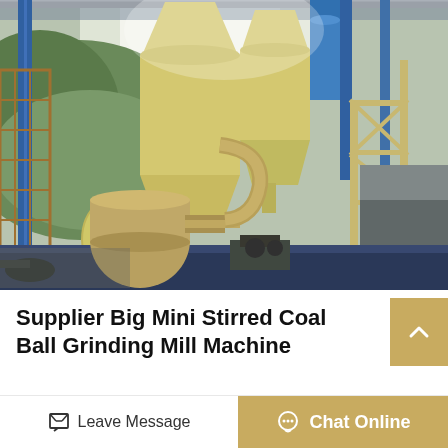[Figure (photo): Industrial grinding mill machinery installation in a factory setting. Large yellow conical separators/cyclones and mill equipment on a dark blue platform, with steel scaffolding and green hillside visible in background.]
Supplier Big Mini Stirred Coal Ball Grinding Mill Machine
Supplier big mini stirred coal ball grinding mill machine mesh